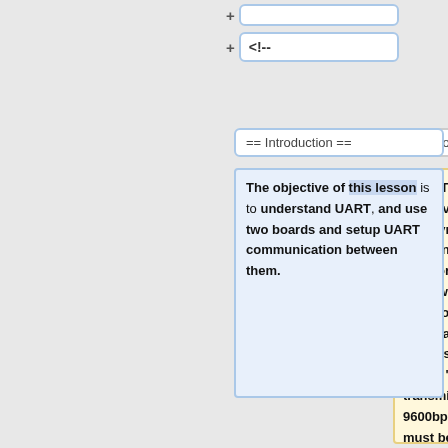+
+ <!--
== Introduction ==
== Introduction ==
'''UART''' stands for '''U'''niversal '''A'''synchronous '''R'''eceiver '''T'''ransmitter. There is one wire for transmitting data, an done wire to receive data.  A common parameter is the baud rate known as "bps" which stands for '''b'''its '''p'''er '''s'''econd. If a transmitter is configured with 9600bps, then the receiver must be listening on the
The objective of this lesson is to understand UART, and use two boards and setup UART communication between them.